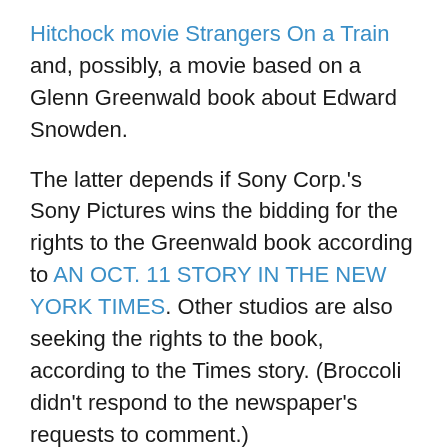Hitchock movie Strangers On a Train and, possibly, a movie based on a Glenn Greenwald book about Edward Snowden.
The latter depends if Sony Corp.'s Sony Pictures wins the bidding for the rights to the Greenwald book according to AN OCT. 11 STORY IN THE NEW YORK TIMES. Other studios are also seeking the rights to the book, according to the Times story. (Broccoli didn't respond to the newspaper's requests to comment.)
This follows the stage production of Once, where WHERE EON CO-BOSSES BARBARA BROCCOLI AND MICHAEL G. WILSON were among the producers. The duo have also been interested in a remake of a 1957 horror movie called Curse of the Demon or Night of the Demon depending on where it was released.